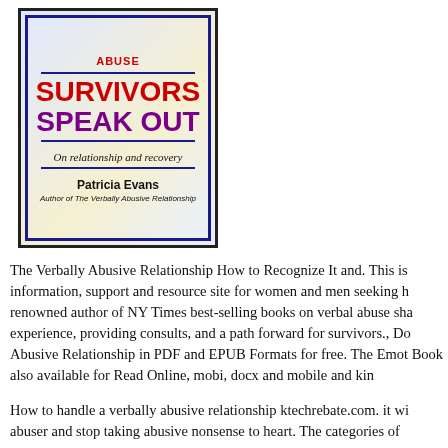[Figure (illustration): Book cover for 'Abuse Survivors Speak Out: On relationship and recovery' by Patricia Evans, Author of The Verbally Abusive Relationship. Cover features bold red and purple text on a cream background with a blue border.]
The Verbally Abusive Relationship How to Recognize It and. This is information, support and resource site for women and men seeking h renowned author of NY Times best-selling books on verbal abuse sha experience, providing consults, and a path forward for survivors., Do Abusive Relationship in PDF and EPUB Formats for free. The Emot Book also available for Read Online, mobi, docx and mobile and kin
How to handle a verbally abusive relationship ktechrebate.com. it wi abuser and stop taking abusive nonsense to heart. The categories of